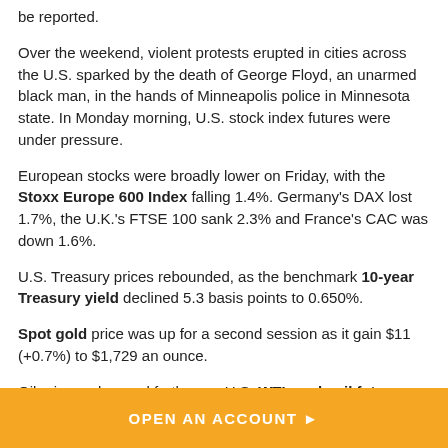be reported.
Over the weekend, violent protests erupted in cities across the U.S. sparked by the death of George Floyd, an unarmed black man, in the hands of Minneapolis police in Minnesota state. In Monday morning, U.S. stock index futures were under pressure.
European stocks were broadly lower on Friday, with the Stoxx Europe 600 Index falling 1.4%. Germany's DAX lost 1.7%, the U.K.'s FTSE 100 sank 2.3% and France's CAC was down 1.6%.
U.S. Treasury prices rebounded, as the benchmark 10-year Treasury yield declined 5.3 basis points to 0.650%.
Spot gold price was up for a second session as it gain $11 (+0.7%) to $1,729 an ounce.
Oil prices advanced further, as U.S. WTI crude oil futures jumped 5.7% to $35.49 per barrel.
OPEN AN ACCOUNT ▶